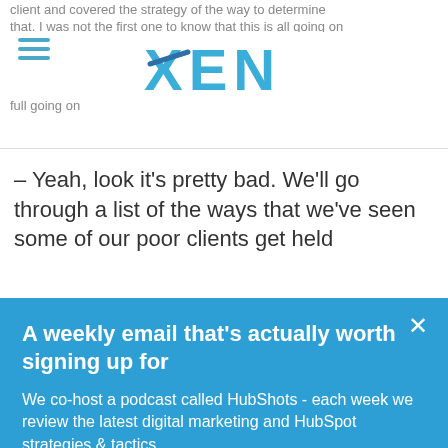client and covered the strategy of the way to determine that. I was not the first one to know that this is all going on
[Figure (logo): XEN logo in blue with a diagonal slash across the X]
– Yeah, look it's pretty bad. We'll go through a list of the ways that we've seen some of our poor clients get held back, they've seen some pricing. And have any the point for
A weekly email that's actually worth signing up for
We co-host a podcast called HubShots - each week we review the latest digital marketing and HubSpot strategies & tactics.
Every Friday morning we send out a comprehensive email containing the show notes, updates and links, plus additional commentary that didn't make it into the episode.
Want to receive it?